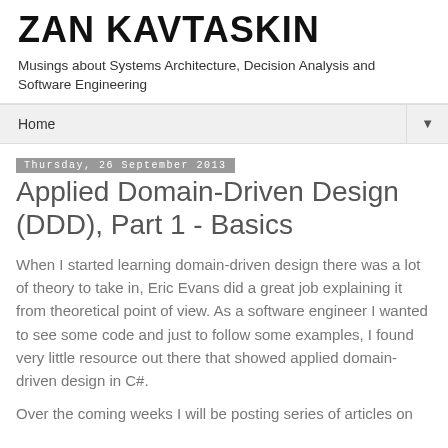ZAN KAVTASKIN
Musings about Systems Architecture, Decision Analysis and Software Engineering
Home ▼
Thursday, 26 September 2013
Applied Domain-Driven Design (DDD), Part 1 - Basics
When I started learning domain-driven design there was a lot of theory to take in, Eric Evans did a great job explaining it from theoretical point of view. As a software engineer I wanted to see some code and just to follow some examples, I found very little resource out there that showed applied domain-driven design in C#.
Over the coming weeks I will be posting series of articles on